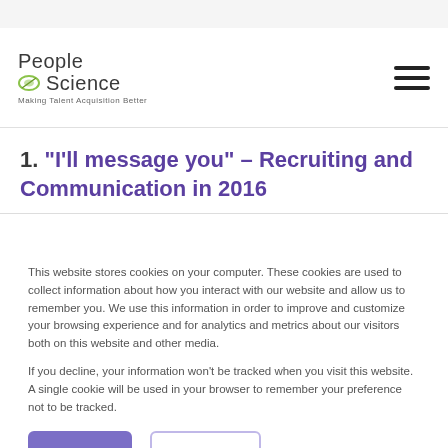People Science – Making Talent Acquisition Better
1. "I'll message you" – Recruiting and Communication in 2016
This website stores cookies on your computer. These cookies are used to collect information about how you interact with our website and allow us to remember you. We use this information in order to improve and customize your browsing experience and for analytics and metrics about our visitors both on this website and other media.

If you decline, your information won't be tracked when you visit this website. A single cookie will be used in your browser to remember your preference not to be tracked.